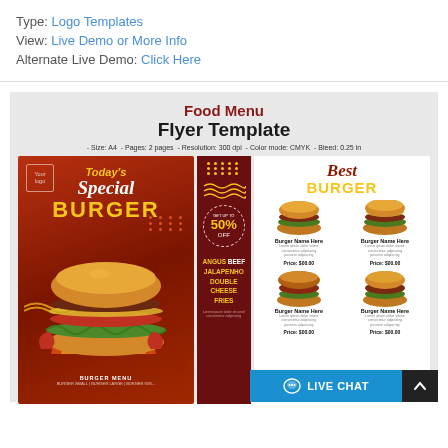Type: Logo Templates
View: Live Demo or More Info
Alternate Live Demo: Click Here
[Figure (illustration): Food Menu Flyer Template preview showing two burger promotional designs. Left: red-background flyer with 'Today's Special BURGER' text and a large burger photo with flames. Middle: dark red panel with dots, wavy lines, 50% off badge, and ANGUS BEEF JALAPENO DOUBLE CHEESE FRIES text. Right: white burger menu page with 'Best BURGER' header and 4 burger items in a 2x2 grid.]
Food Menu Flyer Template – Size: A4 – Pages: 2 pages – Resolution: 300 dpi – Color mode: CMYK – Bleed: 0.25 in